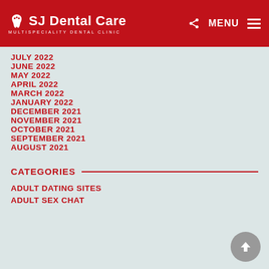SJ Dental Care — MULTISPECIALITY DENTAL CLINIC
JULY 2022
JUNE 2022
MAY 2022
APRIL 2022
MARCH 2022
JANUARY 2022
DECEMBER 2021
NOVEMBER 2021
OCTOBER 2021
SEPTEMBER 2021
AUGUST 2021
CATEGORIES
ADULT DATING SITES
ADULT SEX CHAT